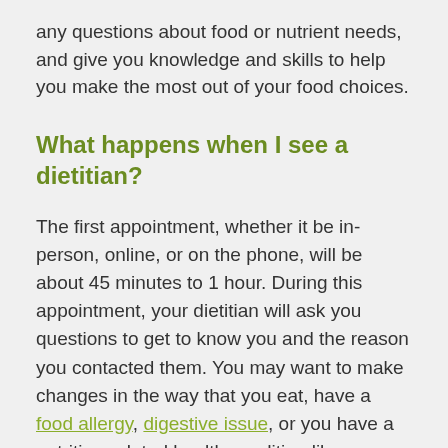any questions about food or nutrient needs, and give you knowledge and skills to help you make the most out of your food choices.
What happens when I see a dietitian?
The first appointment, whether it be in-person, online, or on the phone, will be about 45 minutes to 1 hour. During this appointment, your dietitian will ask you questions to get to know you and the reason you contacted them. You may want to make changes in the way that you eat, have a food allergy, digestive issue, or you have a nutrition-related health condition like diabetes,